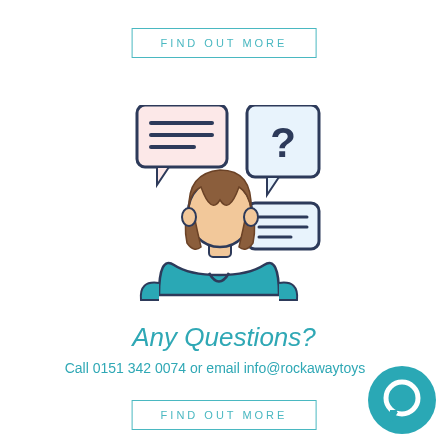FIND OUT MORE
[Figure (illustration): Illustration of a person (woman with brown hair, teal shirt) with a speech bubble showing lines on the left, and a question mark speech bubble with a reply/answer bubble on the right.]
Any Questions?
Call 0151 342 0074 or email info@rockawaytoys
FIND OUT MORE